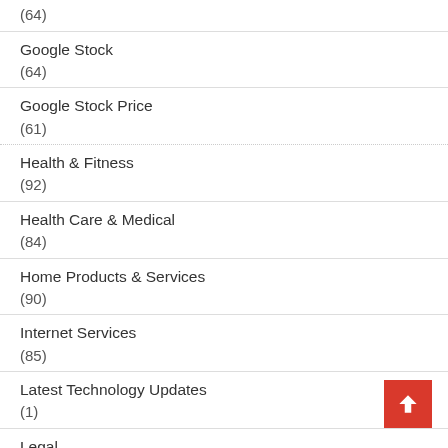(64)
Google Stock (64)
Google Stock Price (61)
Health & Fitness (92)
Health Care & Medical (84)
Home Products & Services (90)
Internet Services (85)
Latest Technology Updates (1)
Legal